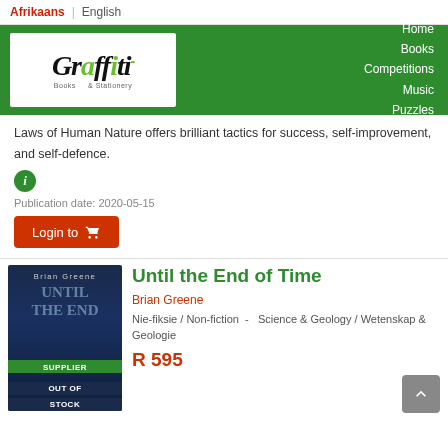Afrikaans | English
[Figure (screenshot): Graffiti Books & Stationery navigation header with green background, logo on left, nav links (Home, Books, Competitions, Music, Puzzles) on right]
Laws of Human Nature offers brilliant tactics for success, self-improvement, and self-defence.
Publication date: 2020-05-15
Login to [cart]
[Figure (photo): Book cover for 'Until the End of Time' by Brian Greene with dark blue background and SUPPLIER OUT OF STOCK badge]
Until the End of Time
Brian Greene
Nie-fiksie / Non-fiction  -  Science & Geology / Wetenskap & Geologie
R 595